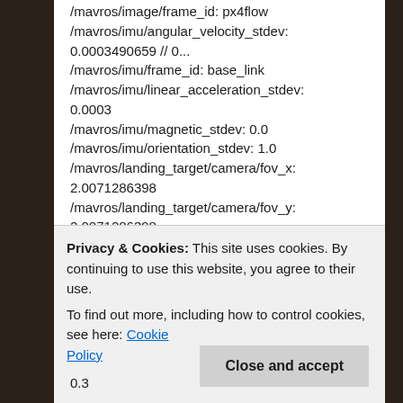/mavros/image/frame_id: px4flow /mavros/imu/angular_velocity_stdev: 0.0003490659 // 0... /mavros/imu/frame_id: base_link /mavros/imu/linear_acceleration_stdev: 0.0003 /mavros/imu/magnetic_stdev: 0.0 /mavros/imu/orientation_stdev: 1.0 /mavros/landing_target/camera/fov_x: 2.0071286398 /mavros/landing_target/camera/fov_y: 2.0071286398 /mavros/landing_target/image/height: 480 /mavros/landing_target/image/width: 640
Privacy & Cookies: This site uses cookies. By continuing to use this website, you agree to their use. To find out more, including how to control cookies, see here: Cookie Policy
0.3